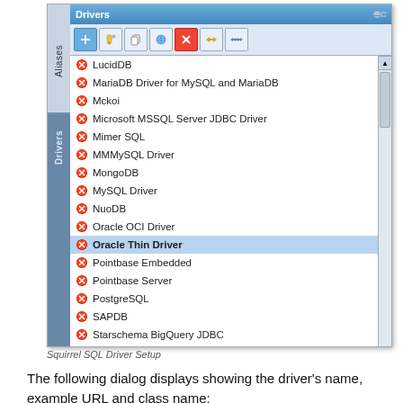[Figure (screenshot): Squirrel SQL Drivers dialog showing a list of database drivers with red X icons. The list includes: LucidDB, MariaDB Driver for MySQL and MariaDB, Mckoi, Microsoft MSSQL Server JDBC Driver, Mimer SQL, MMMySQL Driver, MongoDB, MySQL Driver, NuoDB, Oracle OCI Driver, Oracle Thin Driver (selected/highlighted), Pointbase Embedded, Pointbase Server, PostgreSQL, SAPDB, Starschema BigQuery JDBC. The dialog has a toolbar with icons and a sidebar with Aliases and Drivers tabs.]
Squirrel SQL Driver Setup
The following dialog displays showing the driver's name, example URL and class name: